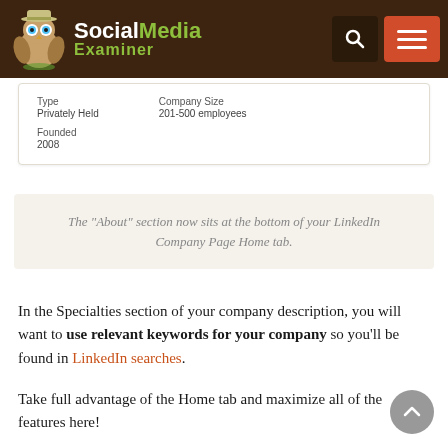Social Media Examiner
| Type | Company Size |
| --- | --- |
| Privately Held | 201-500 employees |
| Founded |
| --- |
| 2008 |
The "About" section now sits at the bottom of your LinkedIn Company Page Home tab.
In the Specialties section of your company description, you will want to use relevant keywords for your company so you’ll be found in LinkedIn searches.
Take full advantage of the Home tab and maximize all of the features here!